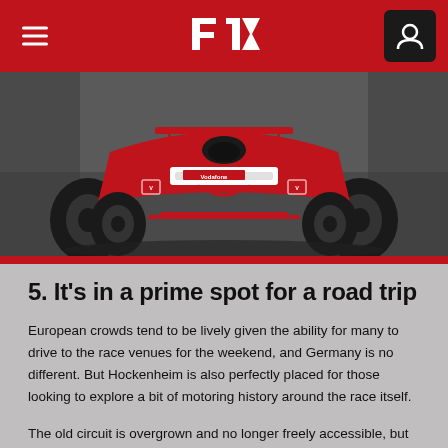F1 — Navigation header with hamburger menu and user icon
[Figure (photo): Red Ferrari Formula 1 car on track, front view, with Vodafone sponsorship livery, dark background]
5. It's in a prime spot for a road trip
European crowds tend to be lively given the ability for many to drive to the race venues for the weekend, and Germany is no different. But Hockenheim is also perfectly placed for those looking to explore a bit of motoring history around the race itself.
The old circuit is overgrown and no longer freely accessible, but you can go back in time even further